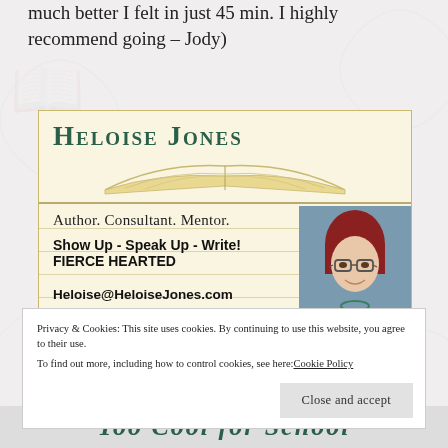much better I felt in just 45 min. I highly recommend going – Jody)
[Figure (infographic): Heloise Jones banner/business card: name in large green serif text, open book illustration, horizontal ruled lines background, subtitle 'Author. Consultant. Mentor.', tagline 'Show Up - Speak Up - Write!', book title 'FIERCE HEARTED', email 'Heloise@HeloiseJones.com', and a photo of a woman with short red hair and glasses on the right side.]
Privacy & Cookies: This site uses cookies. By continuing to use this website, you agree to their use.
To find out more, including how to control cookies, see here: Cookie Policy
Close and accept
Too Cool for School